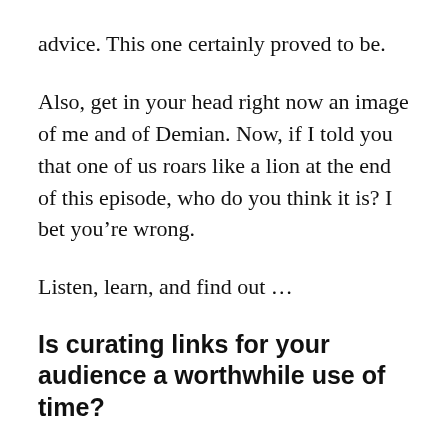advice. This one certainly proved to be.
Also, get in your head right now an image of me and of Demian. Now, if I told you that one of us roars like a lion at the end of this episode, who do you think it is? I bet you’re wrong.
Listen, learn, and find out…
Is curating links for your audience a worthwhile use of time?
Jerod: To begin, Demian, let’s do a quick bit of review, and first answer the “why”